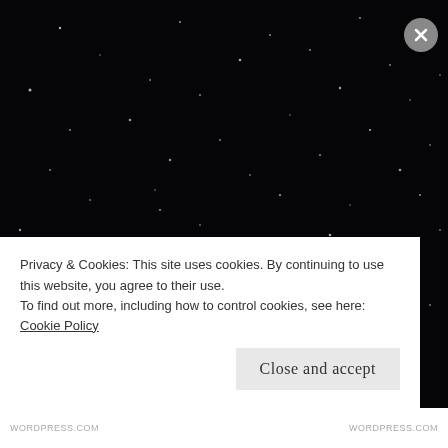[Figure (photo): Dark night sky background with many small white dots resembling stars scattered across the black background]
Spiced pumpkin cider (one for the Halloween weekend)
YOU WILL NEED
Privacy & Cookies: This site uses cookies. By continuing to use this website, you agree to their use.
To find out more, including how to control cookies, see here: Cookie Policy
Close and accept